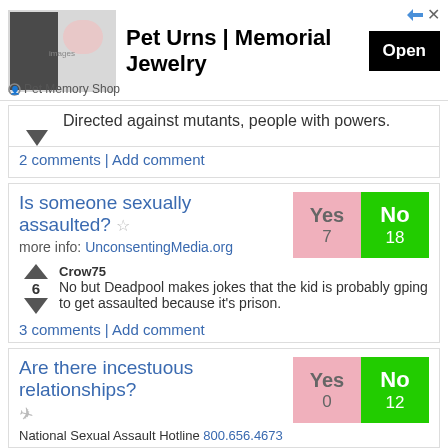[Figure (screenshot): Advertisement banner for Pet Memory Shop — Pet Urns | Memorial Jewelry with an Open button]
Directed against mutants, people with powers.
2 comments | Add comment
Is someone sexually assaulted?
more info: UnconsentingMedia.org
Yes 7   No 18
Crow75
6  No but Deadpool makes jokes that the kid is probably gping to get assaulted because it's prison.
3 comments | Add comment
Are there incestuous relationships?
Yes 0   No 12
National Sexual Assault Hotline 800.656.4673